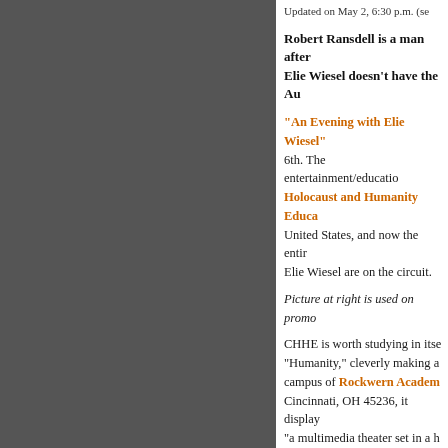Updated on May 2, 6:30 p.m. (se
Robert Ransdell is a man after... Elie Wiesel doesn’t have the Au
“An Evening with Elie Wiesel” 6th. The entertainment/educatio Holocaust and Humanity Educa United States, and now the entir Elie Wiesel are on the circuit.
Picture at right is used on promo
CHHE is worth studying in itse “Humanity,” cleverly making a campus of Rockwern Academ Cincinnati, OH 45236, it display “a multimedia theater set in a h exhibit of “Out of the Attic” can course) for a fee of $350.00 a h supported by generous benefacto Stores and Frisch’s Big Boy … suggested you give a “donation”
[Figure (photo): Photo of a man, presumably related to the article content about Elie Wiesel event]